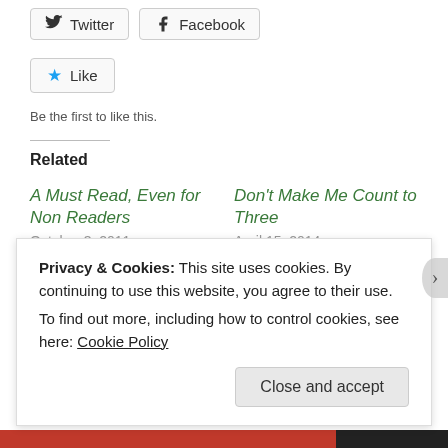[Figure (screenshot): Social share buttons: Twitter and Facebook]
[Figure (screenshot): Like button with star icon]
Be the first to like this.
Related
A Must Read, Even for Non Readers
October 3, 2011
In "Hodge Podge"
Don't Make Me Count to Three
April 15, 2014
In "What We are Reading"
It's a Girl!
May 17, 2012
Privacy & Cookies: This site uses cookies. By continuing to use this website, you agree to their use.
To find out more, including how to control cookies, see here: Cookie Policy
Close and accept